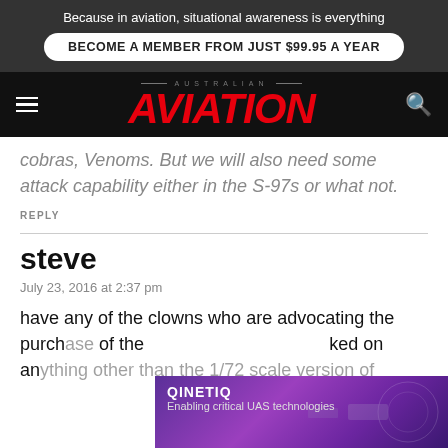Because in aviation, situational awareness is everything
BECOME A MEMBER FROM JUST $99.95 A YEAR
[Figure (logo): Australian Aviation logo with red italic text on black background with hamburger menu and search icon]
cobras, Venoms. But we will also need some attack capability either in the S-97s or what not.
REPLY
steve
July 23, 2016 at 2:37 pm
have any of the clowns who are advocating the purchase of...ked on anything other than the 1/72 scale version of
[Figure (infographic): QinetiQ advertisement overlay: Enabling critical UAS technologies, purple/violet background with geometric shapes and aircraft image]